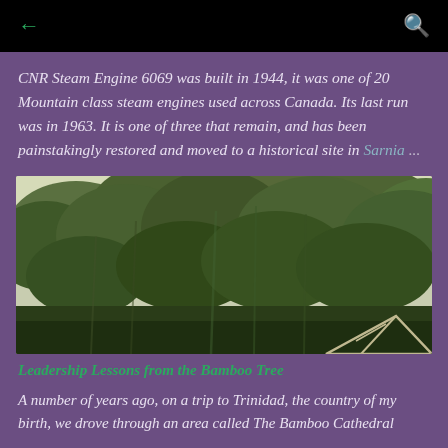← [back] [search]
CNR Steam Engine 6069 was built in 1944, it was one of 20 Mountain class steam engines used across Canada. Its last run was in 1963. It is one of three that remain, and has been painstakingly restored and moved to a historical site in Sarnia ...
[Figure (photo): Outdoor photograph showing dense green trees and bamboo canopy against a pale sky, with a small triangular structure (bridge or rooftop) visible at the bottom right.]
Leadership Lessons from the Bamboo Tree
A number of years ago, on a trip to Trinidad, the country of my birth, we drove through an area called The Bamboo Cathedral